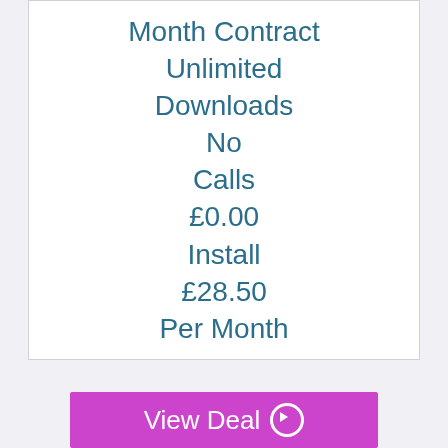Month Contract
Unlimited
Downloads
No
Calls
£0.00
Install
£28.50
Per Month
View Deal